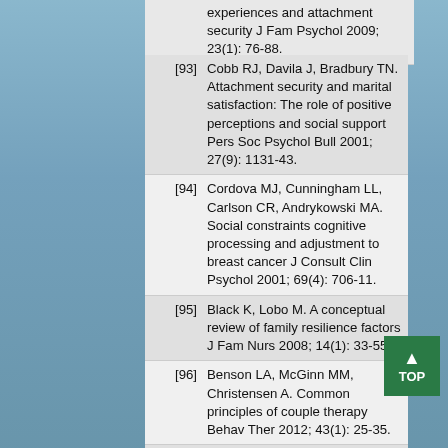[93] Cobb RJ, Davila J, Bradbury TN. Attachment security and marital satisfaction: The role of positive perceptions and social support Pers Soc Psychol Bull 2001; 27(9): 1131-43.
[94] Cordova MJ, Cunningham LL, Carlson CR, Andrykowski MA. Social constraints cognitive processing and adjustment to breast cancer J Consult Clin Psychol 2001; 69(4): 706-11.
[95] Black K, Lobo M. A conceptual review of family resilience factors J Fam Nurs 2008; 14(1): 33-55.
[96] Benson LA, McGinn MM, Christensen A. Common principles of couple therapy Behav Ther 2012; 43(1): 25-35.
[97] Halford WK, Ed. Marriage and relationship education: What works and how to provide it New York NY: Guilford Press 2011.
[98] Olson DH, Russell CS, Sprenkle DH. Circumplex model of marital and family systems...